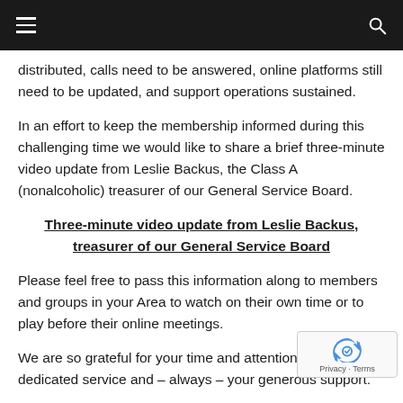≡  [menu icon]   🔍 [search icon]
distributed, calls need to be answered, online platforms still need to be updated, and support operations sustained.
In an effort to keep the membership informed during this challenging time we would like to share a brief three-minute video update from Leslie Backus, the Class A (nonalcoholic) treasurer of our General Service Board.
Three-minute video update from Leslie Backus, treasurer of our General Service Board
Please feel free to pass this information along to members and groups in your Area to watch on their own time or to play before their online meetings.
We are so grateful for your time and attention, your dedicated service and – always – your generous support.